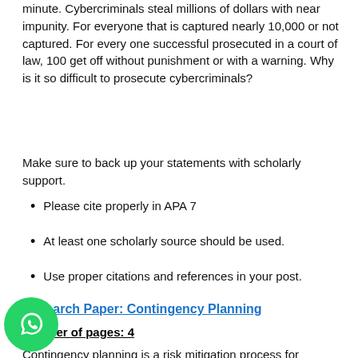minute. Cybercriminals steal millions of dollars with near impunity. For everyone that is captured nearly 10,000 or not captured. For every one successful prosecuted in a court of law, 100 get off without punishment or with a warning. Why is it so difficult to prosecute cybercriminals?
Make sure to back up your statements with scholarly support.
Please cite properly in APA 7
At least one scholarly source should be used.
Use proper citations and references in your post.
Research Paper: Contingency Planning
Number of pages: 4
Contingency planning is a risk mitigation process for developing backup plans in anticipation of events (scenarios) that might disrupt 'business as usual'. Business continuity